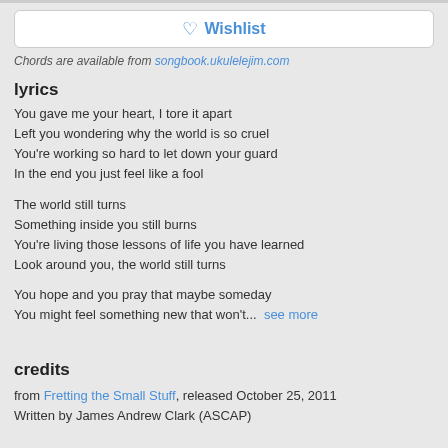[Figure (other): Wishlist button with heart icon]
Chords are available from songbook.ukulelejim.com
lyrics
You gave me your heart, I tore it apart
Left you wondering why the world is so cruel
You're working so hard to let down your guard
In the end you just feel like a fool
The world still turns
Something inside you still burns
You're living those lessons of life you have learned
Look around you, the world still turns
You hope and you pray that maybe someday
You might feel something new that won't...  see more
credits
from Fretting the Small Stuff, released October 25, 2011
Written by James Andrew Clark (ASCAP)